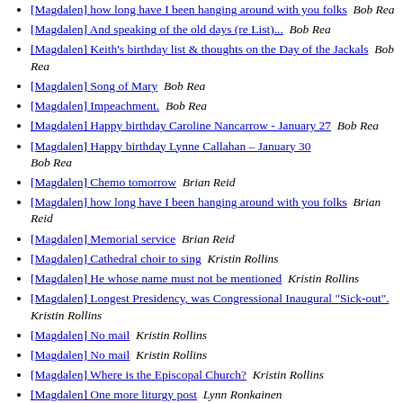[Magdalen] how long have I been hanging around with you folks  Bob Rea
[Magdalen] And speaking of the old days (re List)...  Bob Rea
[Magdalen] Keith's birthday list & thoughts on the Day of the Jackals  Bob Rea
[Magdalen] Song of Mary  Bob Rea
[Magdalen] Impeachment.  Bob Rea
[Magdalen] Happy birthday Caroline Nancarrow - January 27  Bob Rea
[Magdalen] Happy birthday Lynne Callahan – January 30  Bob Rea
[Magdalen] Chemo tomorrow  Brian Reid
[Magdalen] how long have I been hanging around with you folks  Brian Reid
[Magdalen] Memorial service  Brian Reid
[Magdalen] Cathedral choir to sing  Kristin Rollins
[Magdalen] He whose name must not be mentioned  Kristin Rollins
[Magdalen] Longest Presidency, was Congressional Inaugural "Sick-out".  Kristin Rollins
[Magdalen] No mail  Kristin Rollins
[Magdalen] No mail  Kristin Rollins
[Magdalen] Where is the Episcopal Church?  Kristin Rollins
[Magdalen] One more liturgy post  Lynn Ronkainen
[Magdalen] Happy New Year  Lynn Ronkainen